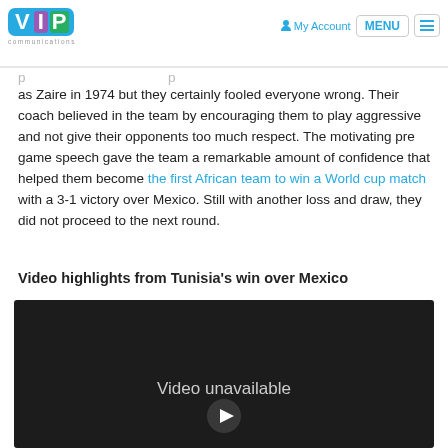[Figure (logo): VIP Communications logo with colorful letters V (blue), I (purple), P (green) and 'communications' text below]
My Account  MENU
as Zaire in 1974 but they certainly fooled everyone wrong. Their coach believed in the team by encouraging them to play aggressive and not give their opponents too much respect. The motivating pre game speech gave the team a remarkable amount of confidence that helped them become the first African team to win a World cup match with a 3-1 victory over Mexico. Still with another loss and draw, they did not proceed to the next round.
Video highlights from Tunisia's win over Mexico
[Figure (screenshot): Embedded video player showing 'Video unavailable' message on dark background]